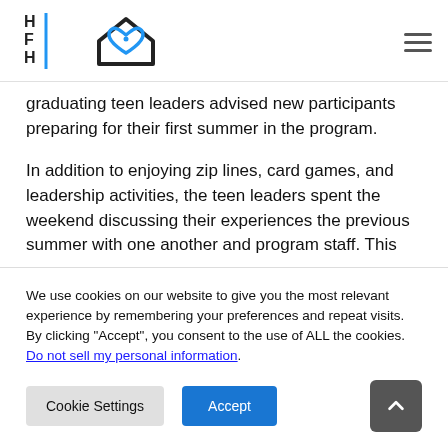HFH logo and navigation menu
graduating teen leaders advised new participants preparing for their first summer in the program.
In addition to enjoying zip lines, card games, and leadership activities, the teen leaders spent the weekend discussing their experiences the previous summer with one another and program staff. This
We use cookies on our website to give you the most relevant experience by remembering your preferences and repeat visits. By clicking “Accept”, you consent to the use of ALL the cookies. Do not sell my personal information.